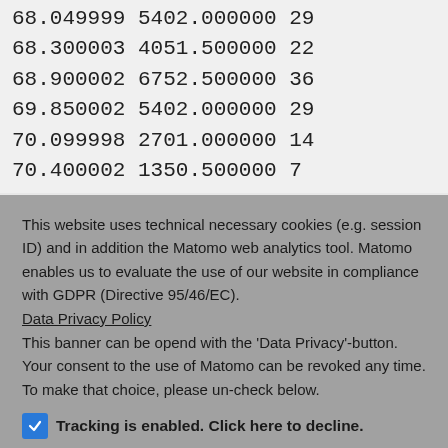68.049999 5402.000000 29
68.300003 4051.500000 22
68.900002 6752.500000 36
69.850002 5402.000000 29
70.099998 2701.000000 14
70.400002 1350.500000 7
This website uses technical necessary cookies (e.g. session ID) and in addition the Matomo web analytics tool. Matomo enables us to evaluate the use of our website in compliance with GDPR (Directive 95/46/EC).
Data Privacy Policy
This banner can be opend with the 'Data Privacy'-button. Your consent to the use of Matomo can be revoked any time. To make that choice, please un-check below.
Tracking is enabled. Click here to decline.
Ok